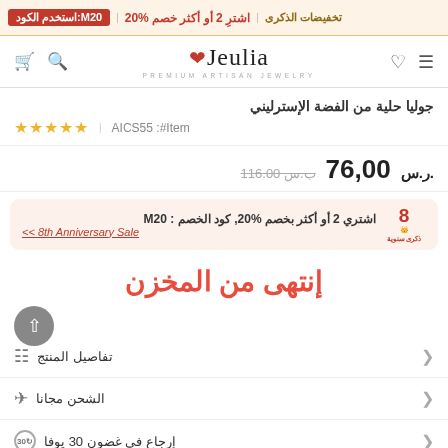تخفيضات الذكرى | اشترِ 2 أو أكثر خصم %20 | استخدم الكود:M20
[Figure (logo): Jeulia Premium Artisan Jewelry logo]
جوليا حلية من الفضة الإسترليني
Item#: AICS55  ★★★★★
76,00 ر.س.  ~~116.00 ب.س~~
اشتري 2 أو أكثر بخصم %20, كود الخصم : M20 << 8th Anniversary Sale
إنتهى من المخزن
تفاصيل المنتج
الشحن مجانا
إرجاع في غضون 30 يوفا